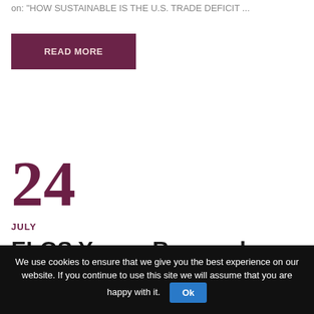on: "HOW SUSTAINABLE IS THE U.S. TRADE DEFICIT …"
READ MORE
24
JULY
ELGS Young Researchers Workshop
We use cookies to ensure that we give you the best experience on our website. If you continue to use this site we will assume that you are happy with it.  Ok